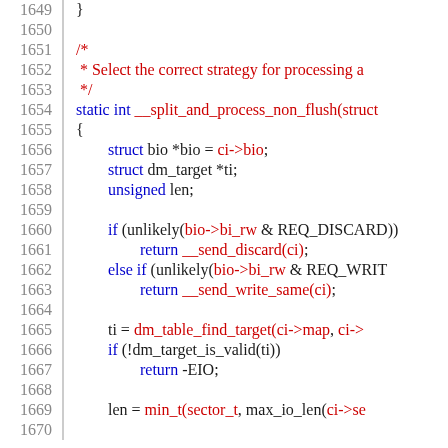[Figure (other): Source code listing showing C code lines 1649-1670 for a Linux kernel device mapper function __split_and_process_non_flush, with line numbers on the left and syntax-highlighted code on the right]